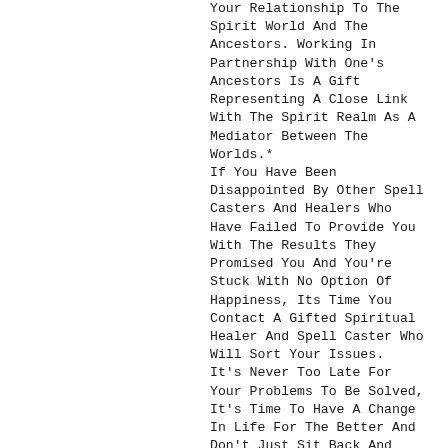Your Relationship To The Spirit World And The Ancestors. Working In Partnership With One's Ancestors Is A Gift Representing A Close Link With The Spirit Realm As A Mediator Between The Worlds.*
If You Have Been Disappointed By Other Spell Casters And Healers Who Have Failed To Provide You With The Results They Promised You And You're Stuck With No Option Of Happiness, Its Time You Contact A Gifted Spiritual Healer And Spell Caster Who Will Sort Your Issues.
It's Never Too Late For Your Problems To Be Solved, It's Time To Have A Change In Life For The Better And Don't Just Sit Back And Think Your Worst Situation Cannot Be Changed For Better, Its Time You Present Your Problem To A Gifted Spell Caster To Help Understand Your Life And The Way Forward.
Ask Yourself The Following:
Revenge Magic Spells in USA